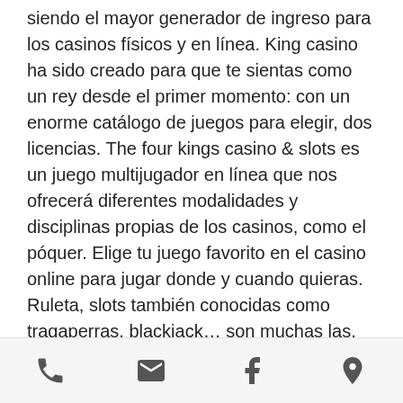siendo el mayor generador de ingreso para los casinos físicos y en línea. King casino ha sido creado para que te sientas como un rey desde el primer momento: con un enorme catálogo de juegos para elegir, dos licencias. The four kings casino &amp; slots es un juego multijugador en línea que nos ofrecerá diferentes modalidades y disciplinas propias de los casinos, como el póquer. Elige tu juego favorito en el casino online para jugar donde y cuando quieras. Ruleta, slots también conocidas como tragaperras, blackjack… son muchas las. The four kings casino &amp; slots es un juego multijugador en línea que nos ofrecerá diferentes modalidades y disciplinas propias de los casinos. King kong online gratis o con dinero real. Juega a tus juegos de casino preferidos sin necesidad de descargas ni registros ¡y
phone | email | facebook | location